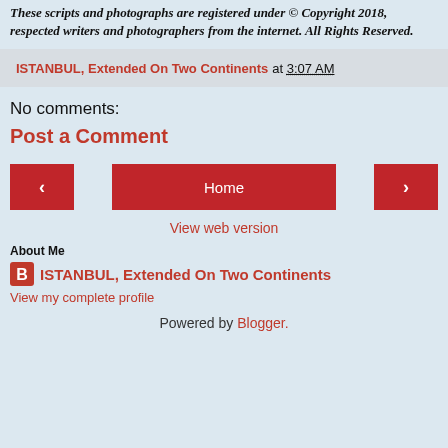These scripts and photographs are registered under © Copyright 2018, respected writers and photographers from the internet. All Rights Reserved.
ISTANBUL, Extended On Two Continents at 3:07 AM
No comments:
Post a Comment
[Figure (screenshot): Navigation buttons: left arrow button, Home button, right arrow button]
View web version
About Me
ISTANBUL, Extended On Two Continents
View my complete profile
Powered by Blogger.